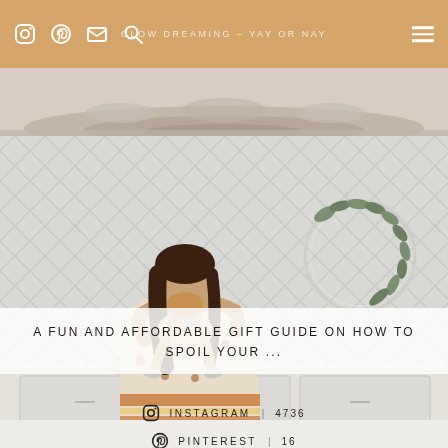GLOW DREAMING – YAY OR NAY
[Figure (photo): Mother and young child sitting together against a herringbone tile wall with a eucalyptus wreath, both wearing boho-style patterned outfits]
A FUN AND AFFORDABLE GIFT GUIDE ON HOW TO SPOIL YOUR ...
INSTAGRAM | 4736
PINTEREST | 16